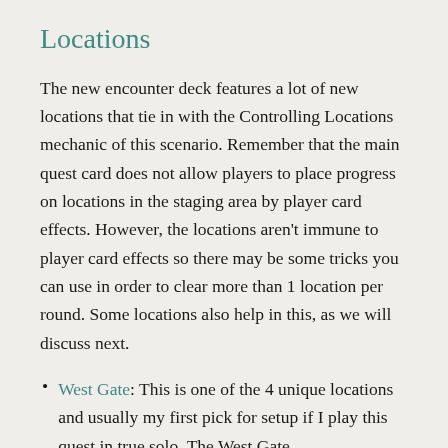Locations
The new encounter deck features a lot of new locations that tie in with the Controlling Locations mechanic of this scenario. Remember that the main quest card does not allow players to place progress on locations in the staging area by player card effects. However, the locations aren't immune to player card effects so there may be some tricks you can use in order to clear more than 1 location per round. Some locations also help in this, as we will discuss next.
West Gate: This is one of the 4 unique locations and usually my first pick for setup if I play this quest in true solo. The West Gate